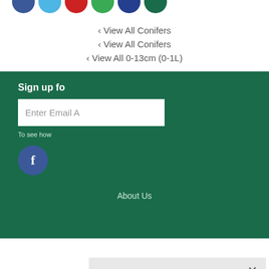[Figure (illustration): Row of colored circles (blue, light blue, red, green, dark blue, dark green) partially cropped at top]
‹ View All Conifers
‹ View All Conifers
‹ View All 0-13cm (0-1L)
Sign up fo
Enter Email A
To see how
[Figure (logo): Facebook icon circle (blue with white f)]
This site uses cookies to provide and improve your shopping experience. By continuing to use this site, you agree to accept these cookies. For more information, please see our Cookies Page Cookies Page.
I opt-in to a better browsing experience
ACCEPT COOKIES
About Us